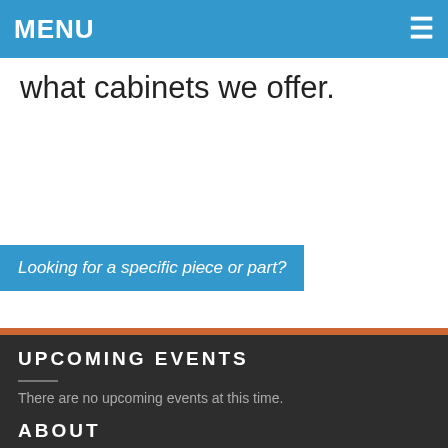MENU
what cabinets we offer.
Looking for a specific piece or part?
UPCOMING EVENTS
There are no upcoming events at this time.
ABOUT
Hanover Supply Company is New Jersey's best supplier for residential, commercial and industrial plumbing; heating and cooling; remodeling products and product redistribution. We support both homeowners and trade professionals with years of supply experience.